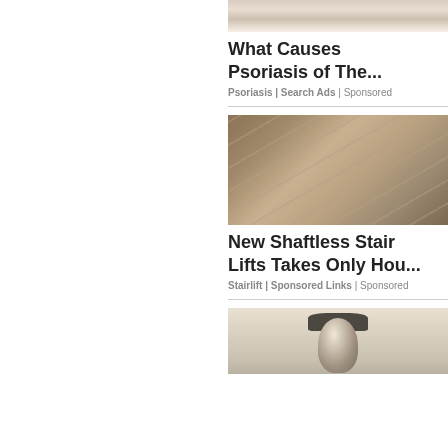[Figure (photo): Partial photo of a person's head/ear area, cropped at top, showing gray hair]
What Causes Psoriasis of The...
Psoriasis | Search Ads | Sponsored
[Figure (photo): Photo of an elderly man in a wheelchair on a stairlift platform with metal railings and glass panels]
New Shaftless Stair Lifts Takes Only Hou...
Stairlift | Sponsored Links | Sponsored
[Figure (photo): Photo of an outdoor wall lantern/lamp fixture mounted on a textured wall, partially visible at bottom]